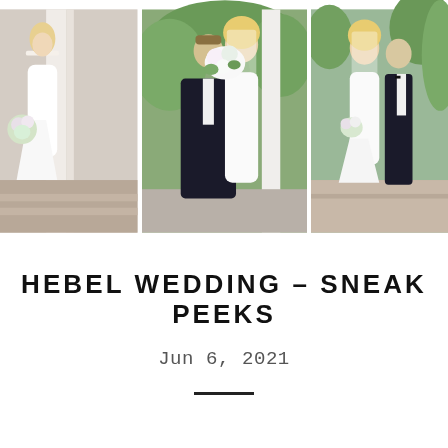[Figure (photo): Triptych of three wedding photos: left photo shows bride in white gown holding bouquet at a white column building; center photo shows bride and groom embracing closely, groom in black tuxedo, bride in white gown with veil, holding large floral bouquet; right photo shows bride and groom walking together outdoors, bride in white gown, groom in black tuxedo.]
HEBEL WEDDING – SNEAK PEEKS
Jun 6, 2021